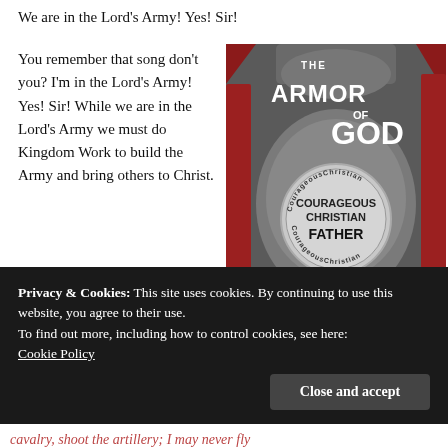We are in the Lord's Army! Yes! Sir!
You remember that song don't you? I'm in the Lord's Army! Yes! Sir! While we are in the Lord's Army we must do Kingdom Work to build the Army and bring others to Christ.
[Figure (illustration): Book cover titled 'The Armor of God' with a knight in armor holding a sword, with circular badge reading 'Courageous Christian Father']
Privacy & Cookies: This site uses cookies. By continuing to use this website, you agree to their use.
To find out more, including how to control cookies, see here: Cookie Policy
Close and accept
cavalry, shoot the artillery; I may never fly